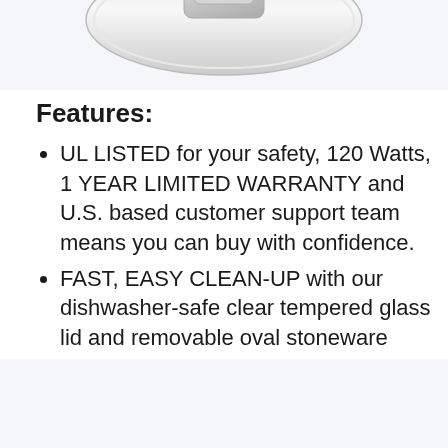[Figure (photo): Partial view of a round appliance lid (silver/chrome color) at the top of the page, cropped at the bottom of the image area.]
Features:
UL LISTED for your safety, 120 Watts, 1 YEAR LIMITED WARRANTY and U.S. based customer support team means you can buy with confidence.
FAST, EASY CLEAN-UP with our dishwasher-safe clear tempered glass lid and removable oval stoneware